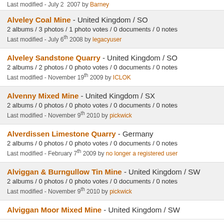Last modified - July 2  2007 by Barney
Alveley Coal Mine - United Kingdom / SO
2 albums / 3 photos / 1 photo votes / 0 documents / 0 notes
Last modified - July 6th 2008 by legacyuser
Alveley Sandstone Quarry - United Kingdom / SO
2 albums / 2 photos / 0 photo votes / 0 documents / 0 notes
Last modified - November 19th 2009 by ICLOK
Alvenny Mixed Mine - United Kingdom / SX
2 albums / 0 photos / 0 photo votes / 0 documents / 0 notes
Last modified - November 9th 2010 by pickwick
Alverdissen Limestone Quarry - Germany
2 albums / 0 photos / 0 photo votes / 0 documents / 0 notes
Last modified - February 7th 2009 by no longer a registered user
Alviggan & Burngullow Tin Mine - United Kingdom / SW
2 albums / 0 photos / 0 photo votes / 0 documents / 0 notes
Last modified - November 9th 2010 by pickwick
Alviggan Moor Mixed Mine - United Kingdom / SW